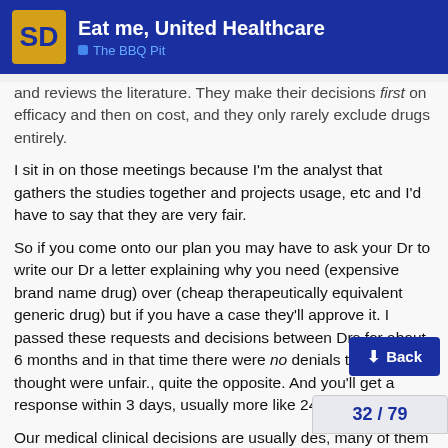Eat me, United Healthcare — The BBQ Pit
and reviews the literature. They make their decisions first on efficacy and then on cost, and they only rarely exclude drugs entirely.
I sit in on those meetings because I'm the analyst that gathers the studies together and projects usage, etc and I'd have to say that they are very fair.
So if you come onto our plan you may have to ask your Dr to write our Dr a letter explaining why you need (expensive brand name drug) over (cheap therapeutically equivalent generic drug) but if you have a case they'll approve it. I passed these requests and decisions between Drs for about 6 months and in that time there were no denials that I thought were unfair., quite the opposite. And you'll get a response within 3 days, usually more like 24 hours.
Our medical clinical decisions are usually de... [doctors], many of them with 20+ years of experience. Claims processors (usually with a high school d...) only allowed to adjudicate claims on a m...